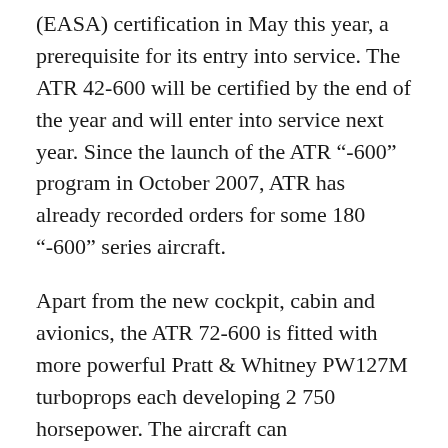(EASA) certification in May this year, a prerequisite for its entry into service. The ATR 42-600 will be certified by the end of the year and will enter into service next year. Since the launch of the ATR “-600” program in October 2007, ATR has already recorded orders for some 180 “-600” series aircraft.
Apart from the new cockpit, cabin and avionics, the ATR 72-600 is fitted with more powerful Pratt & Whitney PW127M turboprops each developing 2 750 horsepower. The aircraft can accommodate between 68 and 74 passengers and has a maximum range of 899 nautical miles (1 665 km).
Royal Air Maroc’s fleet currently comprises 44 medium- and long-haul aircraft, including 34 Boeing 737s, one 747, two 757s, three 767s and four Airbus A321s. It also